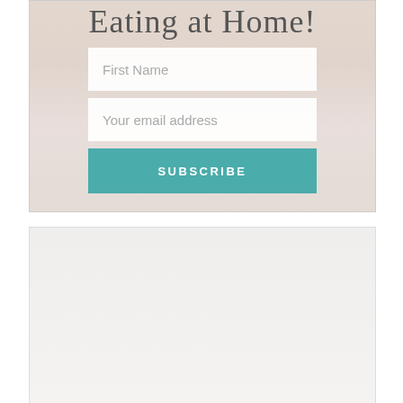[Figure (screenshot): Email subscription form widget with background photo of a dining room. Contains title text 'Eating at Home!', two input fields labeled 'First Name' and 'Your email address', and a teal SUBSCRIBE button.]
[Figure (photo): Light gray/beige empty content block below the subscription form widget.]